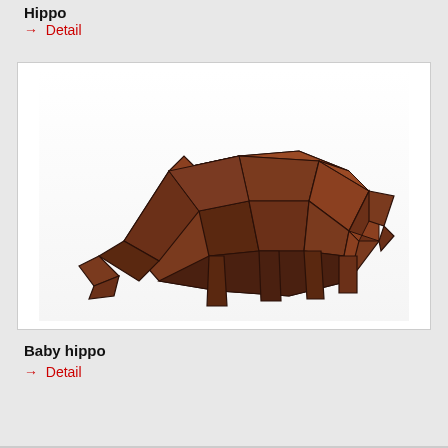Hippo
→ Detail
[Figure (illustration): A low-poly 3D sculpture of a hippopotamus, rendered in dark reddish-brown wood texture with geometric faceted polygonal surfaces. The hippo is shown in a standing/grazing pose facing left.]
Baby hippo
→ Detail